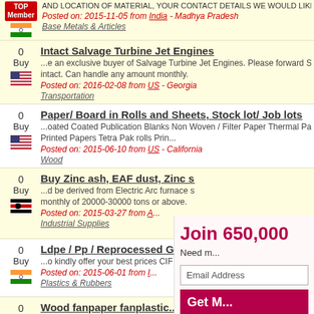AND LOCATION OF MATERIAL, YOUR CONTACT DETAILS WE WOULD LIKE TO ...
Posted on: 2015-11-05 from India - Madhya Pradesh
Base Metals & Articles
Intact Salvage Turbine Jet Engines
...e an exclusive buyer of Salvage Turbine Jet Engines. Please forward Specs, Photo(s). intact. Can handle any amount monthly.
Posted on: 2016-02-08 from US - Georgia
Transportation
Paper/ Board in Rolls and Sheets, Stock lot/ Job lots
...oated Coated Publication Blanks Non Woven / Filter Paper Thermal Paper Photo Paper Printed Papers Tetra Pak rolls Prin...
Posted on: 2015-06-10 from US - California
Wood
Buy Zinc ash, EAF dust, Zinc scrap, Steel ash.
...d be derived from Electric Arc furnace system from steel factory. Attached photo for your monthly of 20000-30000 tons or above.
Posted on: 2015-03-27 from A...
Industrial Supplies
Ldpe / Pp / Reprocessed G...
...o kindly offer your best prices CIF Nab...
Posted on: 2015-06-01 from I...
Plastics & Rubbers
Wood fanpaper fanplastic...
...craft umbrella, antique clock, cork pai... all the staff inherited Fujian tradi...
Posted on: 2014-06-26 from C...
Miscellaneous
Hand fan, Customized pro...
...craft umbrella, antique clock, cork pai... all the staff inherited Fujian tradi...
Posted on: 2014-06-26 from C...
Join 650,000...
Need m...
Email Address
Get M...